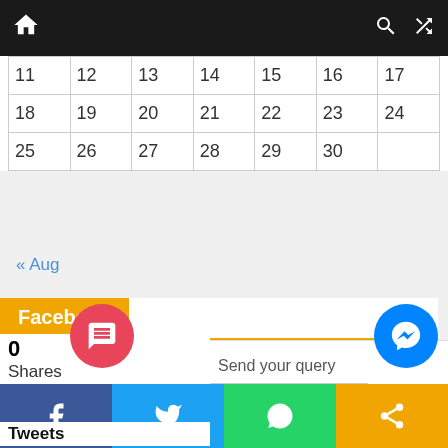Navigation bar with home, search, and shuffle icons
| 11 | 12 | 13 | 14 | 15 | 16 | 17 |
| 18 | 19 | 20 | 21 | 22 | 23 | 24 |
| 25 | 26 | 27 | 28 | 29 | 30 |  |
« Aug
Facebook
Twitter
0 Shares
Tweets
Send your query